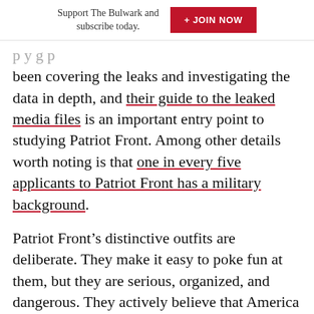Support The Bulwark and subscribe today.  + JOIN NOW
been covering the leaks and investigating the data in depth, and their guide to the leaked media files is an important entry point to studying Patriot Front. Among other details worth noting is that one in every five applicants to Patriot Front has a military background.
Patriot Front’s distinctive outfits are deliberate. They make it easy to poke fun at them, but they are serious, organized, and dangerous. They actively believe that America has already fallen, and that “patriotism” means burning down the rubble and building a new ethnostate on the